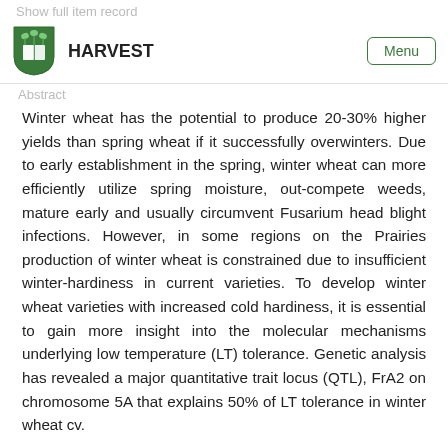Show full item record
HARVEST | Menu
Abstract
Winter wheat has the potential to produce 20-30% higher yields than spring wheat if it successfully overwinters. Due to early establishment in the spring, winter wheat can more efficiently utilize spring moisture, out-compete weeds, mature early and usually circumvent Fusarium head blight infections. However, in some regions on the Prairies production of winter wheat is constrained due to insufficient winter-hardiness in current varieties. To develop winter wheat varieties with increased cold hardiness, it is essential to gain more insight into the molecular mechanisms underlying low temperature (LT) tolerance. Genetic analysis has revealed a major quantitative trait locus (QTL), FrA2 on chromosome 5A that explains 50% of LT tolerance in winter wheat cv.